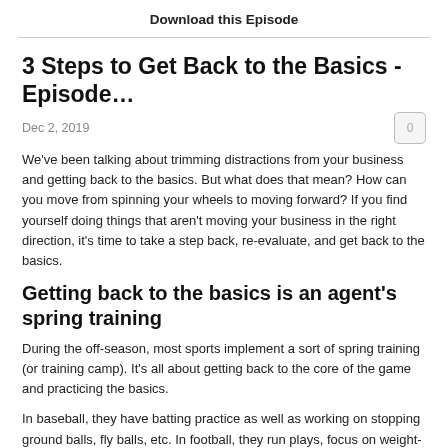Download this Episode
3 Steps to Get Back to the Basics - Episode…
Dec 2, 2019
We've been talking about trimming distractions from your business and getting back to the basics. But what does that mean? How can you move from spinning your wheels to moving forward? If you find yourself doing things that aren't moving your business in the right direction, it's time to take a step back, re-evaluate, and get back to the basics.
Getting back to the basics is an agent's spring training
During the off-season, most sports implement a sort of spring training (or training camp). It's all about getting back to the core of the game and practicing the basics.
In baseball, they have batting practice as well as working on stopping ground balls, fly balls, etc. In football, they run plays, focus on weight-lifting and conditioning, and prepare for the next season.
So why shouldn't it be the same for agents? It's important to take a step back, look at the big picture, and focus on perfecting the basics of the game. So